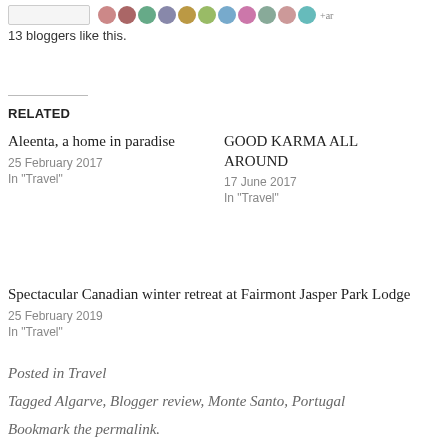[Figure (photo): Row of small blogger avatar photos with a button placeholder on the left]
13 bloggers like this.
RELATED
Aleenta, a home in paradise
25 February 2017
In "Travel"
GOOD KARMA ALL AROUND
17 June 2017
In "Travel"
Spectacular Canadian winter retreat at Fairmont Jasper Park Lodge
25 February 2019
In "Travel"
Posted in Travel
Tagged Algarve, Blogger review, Monte Santo, Portugal
Bookmark the permalink.